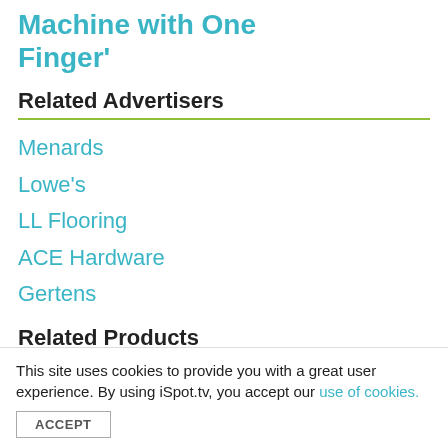Machine with One Finger'
Related Advertisers
Menards
Lowe's
LL Flooring
ACE Hardware
Gertens
Related Products
This site uses cookies to provide you with a great user experience. By using iSpot.tv, you accept our use of cookies.